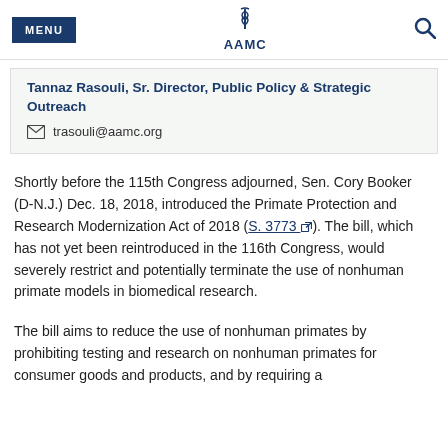MENU | AAMC | Search
Tannaz Rasouli, Sr. Director, Public Policy & Strategic Outreach
trasouli@aamc.org
Shortly before the 115th Congress adjourned, Sen. Cory Booker (D-N.J.) Dec. 18, 2018, introduced the Primate Protection and Research Modernization Act of 2018 (S. 3773). The bill, which has not yet been reintroduced in the 116th Congress, would severely restrict and potentially terminate the use of nonhuman primate models in biomedical research.
The bill aims to reduce the use of nonhuman primates by prohibiting testing and research on nonhuman primates for consumer goods and products, and by requiring a